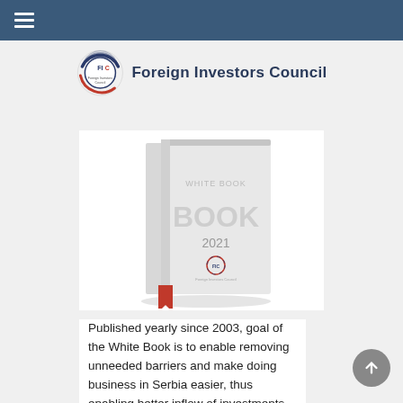Navigation bar with hamburger menu
[Figure (logo): Foreign Investors Council logo — circular FIC emblem with red/blue swirls and text 'Foreign Investors Council']
[Figure (photo): White Book 2021 publication by Foreign Investors Council — a white hardcover book with a red ribbon bookmark, showing 'WHITE BOOK 2021' and the FIC logo on the cover]
Published yearly since 2003, goal of the White Book is to enable removing unneeded barriers and make doing business in Serbia easier, thus enabling better inflow of investments. It is promoted every year in the fourth